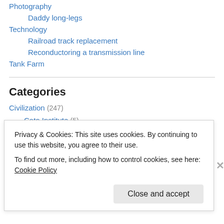Photography
Daddy long-legs
Technology
Railroad track replacement
Reconductoring a transmission line
Tank Farm
Categories
Civilization (247)
Cato Institute (5)
Food and drink (34)
Liberty (19)
Privacy & Cookies: This site uses cookies. By continuing to use this website, you agree to their use.
To find out more, including how to control cookies, see here: Cookie Policy
Close and accept